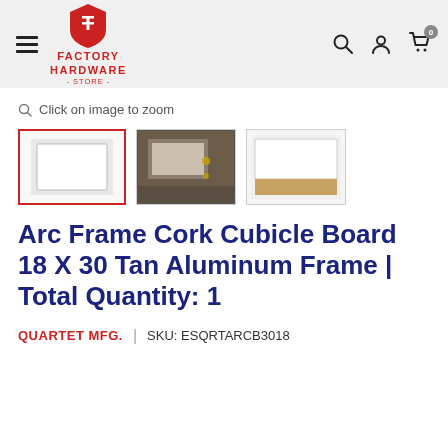Factory Hardware Store
Click on image to zoom
[Figure (photo): Three product thumbnails: first (active/selected) shows white cork board with aluminum frame on white background with red border, second shows photo of board installed in cubicle setting, third shows board with tan/cork bottom strip visible.]
Arc Frame Cork Cubicle Board 18 X 30 Tan Aluminum Frame | Total Quantity: 1
QUARTET MFG.  |  SKU: ESQRTARCB3018